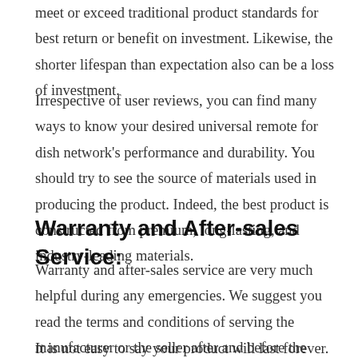meet or exceed traditional product standards for best return or benefit on investment. Likewise, the shorter lifespan than expectation also can be a loss of investment.
Irrespective of user reviews, you can find many ways to know your desired universal remote for dish network's performance and durability. You should try to see the source of materials used in producing the product. Indeed, the best product is constructed from premium, long-lasting, and industry-leading materials.
Warranty and After-sales Service:
Warranty and after-sales service are very much helpful during any emergencies. We suggest you read the terms and conditions of serving the manufacturer or the seller after and before the purchase.
It is not easy to say your product will last forever. So, inquire if the manufacturer is allowing any warranty or after-sale services upon